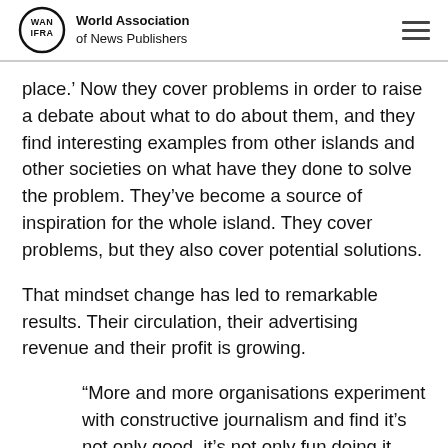World Association of News Publishers
place.’ Now they cover problems in order to raise a debate about what to do about them, and they find interesting examples from other islands and other societies on what have they done to solve the problem. They’ve become a source of inspiration for the whole island. They cover problems, but they also cover potential solutions.
That mindset change has led to remarkable results. Their circulation, their advertising revenue and their profit is growing.
“More and more organisations experiment with constructive journalism and find it’s not only good, it’s not only fun doing it, but it also generates remarkable results.”